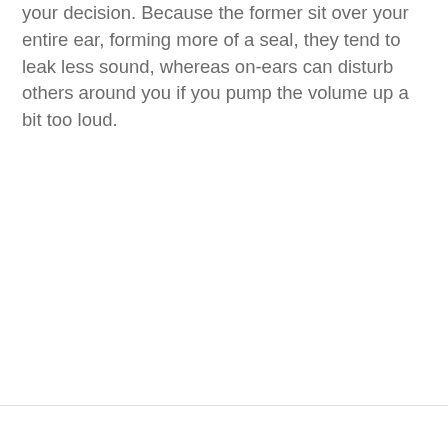your decision. Because the former sit over your entire ear, forming more of a seal, they tend to leak less sound, whereas on-ears can disturb others around you if you pump the volume up a bit too loud.